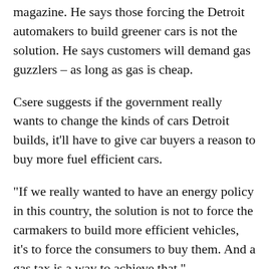magazine. He says those forcing the Detroit automakers to build greener cars is not the solution. He says customers will demand gas guzzlers – as long as gas is cheap.
Csere suggests if the government really wants to change the kinds of cars Detroit builds, it'll have to give car buyers a reason to buy more fuel efficient cars.
“If we really wanted to have an energy policy in this country, the solution is not to force the carmakers to build more efficient vehicles, it’s to force the consumers to buy them. And a gas tax is a way to achieve that.”